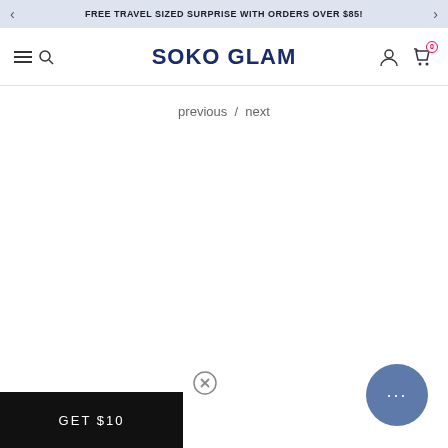FREE TRAVEL SIZED SURPRISE WITH ORDERS OVER $85!
SOKO GLAM
previous / next
GET $10
[Figure (other): Chat support bubble with ellipsis (...)]